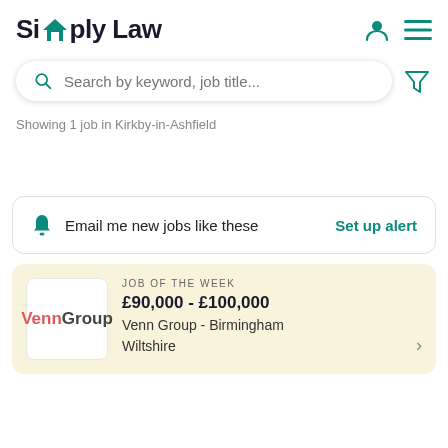[Figure (logo): Simply Law logo with house icon replacing the 'm' in Simply]
Search by keyword, job title...
Showing 1 job in Kirkby-in-Ashfield
Email me new jobs like these  Set up alert
JOB OF THE WEEK
£90,000 - £100,000
Venn Group - Birmingham
Wiltshire